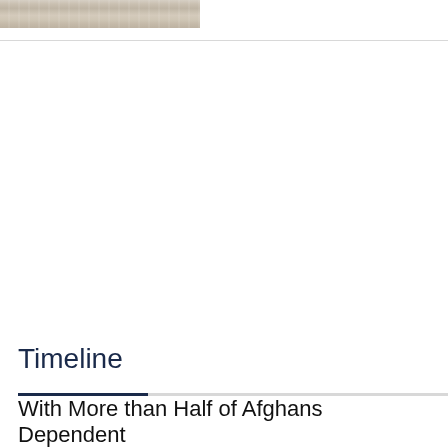[Figure (photo): Partial view of a photograph showing what appears to be a sandy or rocky textured surface, cropped at the top of the page.]
Timeline
With More than Half of Afghans Dependent